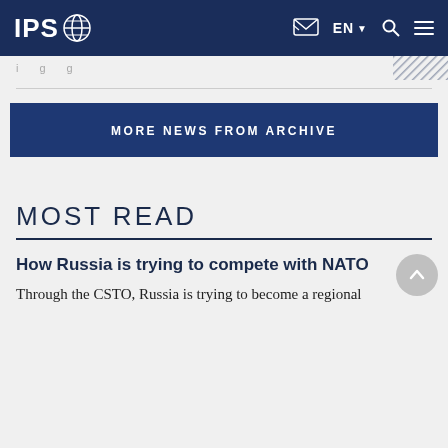IPS EN
MORE NEWS FROM ARCHIVE
MOST READ
How Russia is trying to compete with NATO
Through the CSTO, Russia is trying to become a regional